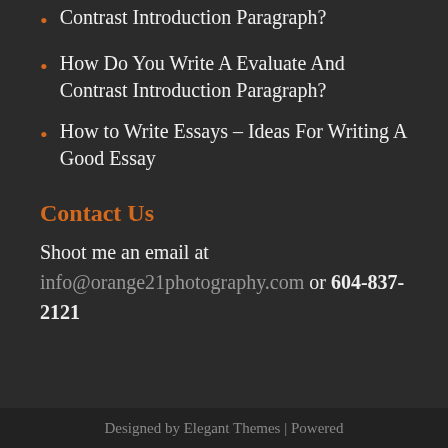Contrast Introduction Paragraph?
How Do You Write A Evaluate And Contrast Introduction Paragraph?
How to Write Essays – Ideas For Writing A Good Essay
Contact Us
Shoot me an email at info@orange21photography.com or 604-837-2121
Designed by Elegant Themes | Powered